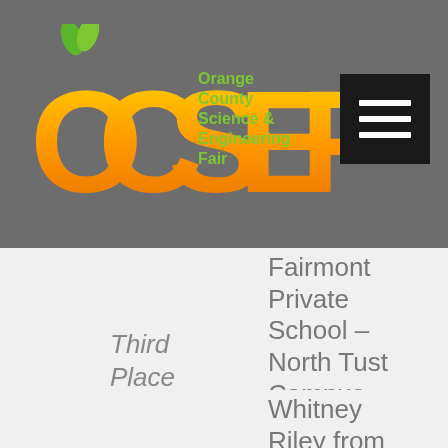[Figure (logo): OCSEF Orange County Science & Engineering Fair logo with orange letters and green leaf accents]
Fairmont Private School – North Tustin Campus, advisor: Afsaneh Miller
Third Place
Whitney Riley from St. Margaret's